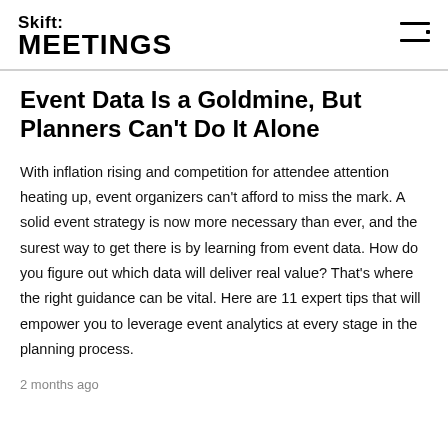Skift MEETINGS
Event Data Is a Goldmine, But Planners Can’t Do It Alone
With inflation rising and competition for attendee attention heating up, event organizers can't afford to miss the mark. A solid event strategy is now more necessary than ever, and the surest way to get there is by learning from event data. How do you figure out which data will deliver real value? That's where the right guidance can be vital. Here are 11 expert tips that will empower you to leverage event analytics at every stage in the planning process.
2 months ago